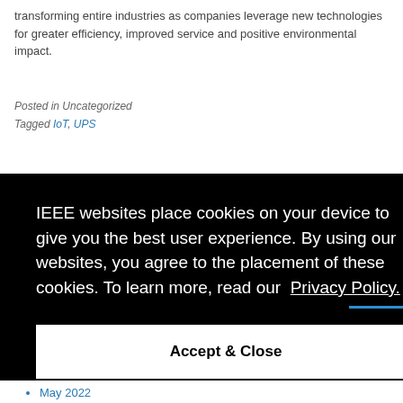transforming entire industries as companies leverage new technologies for greater efficiency, improved service and positive environmental impact.
Posted in Uncategorized
Tagged IoT, UPS
IEEE websites place cookies on your device to give you the best user experience. By using our websites, you agree to the placement of these cookies. To learn more, read our Privacy Policy.
Accept & Close
May 2022